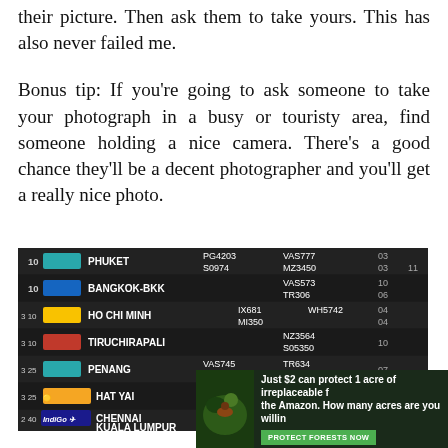their picture. Then ask them to take yours. This has also never failed me.
Bonus tip: If you're going to ask someone to take your photograph in a busy or touristy area, find someone holding a nice camera. There's a good chance they'll be a decent photographer and you'll get a really nice photo.
[Figure (photo): Airport departure board showing flight destinations including Phuket, Bangkok-BKK, Ho Chi Minh, Tiruchirapali, Penang, Hat Yai, Chennai, Kuala Lumpur with flight numbers and times. Airline logos visible including IndiGo.]
[Figure (other): Advertisement banner: 'Just $2 can protect 1 acre of irreplaceable forest in the Amazon. How many acres are you willing to protect?' with a green Protect Forests Now button.]